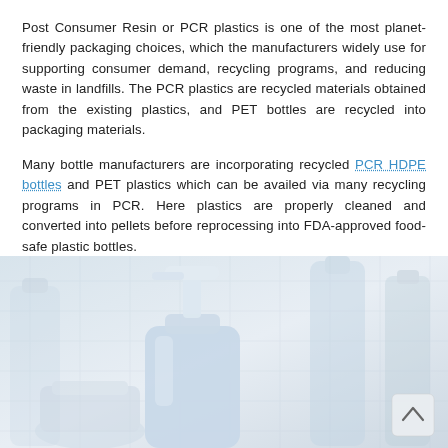Post Consumer Resin or PCR plastics is one of the most planet-friendly packaging choices, which the manufacturers widely use for supporting consumer demand, recycling programs, and reducing waste in landfills. The PCR plastics are recycled materials obtained from the existing plastics, and PET bottles are recycled into packaging materials.
Many bottle manufacturers are incorporating recycled PCR HDPE bottles and PET plastics which can be availed via many recycling programs in PCR. Here plastics are properly cleaned and converted into pellets before reprocessing into FDA-approved food-safe plastic bottles.
[Figure (photo): Photo of plastic bottles including a pump dispenser bottle in light blue/white color, along with other transparent plastic containers in the background, with a subtle grid/crosshatch pattern overlay. A small scroll-up button is visible in the lower right corner.]